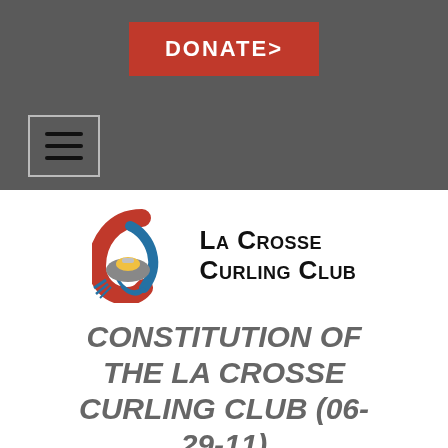[Figure (other): Red DONATE> button on dark grey header bar, with a hamburger menu icon button (three horizontal lines) below and to the left]
[Figure (logo): La Crosse Curling Club logo: curling stone with red and blue swooping arcs, blue ice lines, yellow stone top, grey stone body, next to bold text La Crosse Curling Club]
CONSTITUTION OF THE LA CROSSE CURLING CLUB (06-29-11)